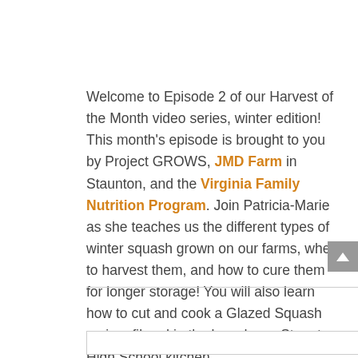Welcome to Episode 2 of our Harvest of the Month video series, winter edition! This month's episode is brought to you by Project GROWS, JMD Farm in Staunton, and the Virginia Family Nutrition Program. Join Patricia-Marie as she teaches us the different types of winter squash grown on our farms, when to harvest them, and how to cure them for longer storage! You will also learn how to cut and cook a Glazed Squash recipe, filmed in the brand new Staunton High School kitchen.